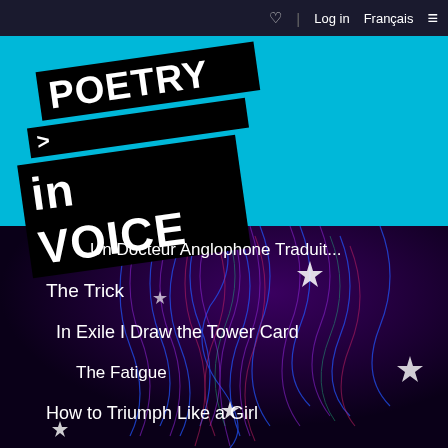Log in | Français
[Figure (logo): Poetry in Voice logo — two black banner strips at a diagonal angle reading POETRY and in VOICE in bold white text on black, on a cyan background]
Un Docteur Anglophone Traduit...
The Trick
In Exile I Draw the Tower Card
The Fatigue
How to Triumph Like a Girl
...before the PPP...